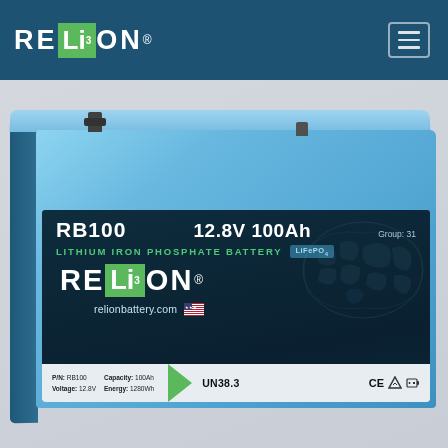RELiON (navigation bar with hamburger menu)
[Figure (photo): RELiON RB100 12.8V 100Ah Lithium Iron Phosphate Battery product photo. A light-blue rectangular battery with a dark label panel showing: RB100, 12.8V 100Ah, Group 31, LITHIUM IRON PHOSPHATE BATTERY LiFePO4, RELiON logo, relionbattery.com, US flag, UN38.3, CE mark, and bottom specs: P/N: RB100, Voltage: 12.8V, Capacity: 100Ah, Energy: 1280Wh]